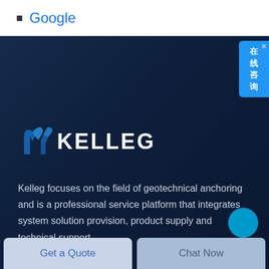Google
[Figure (logo): Kelleg company logo with stylized anchor/bolt icon in blue and white text on dark navy background]
Kelleg focuses on the field of geotechnical anchoring and is a professional service platform that integrates system solution provision, product supply and technical support
Get a Quote
Chat Now